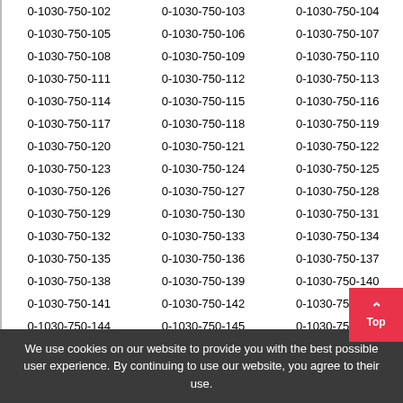| 0-1030-750-102 | 0-1030-750-103 | 0-1030-750-104 |
| 0-1030-750-105 | 0-1030-750-106 | 0-1030-750-107 |
| 0-1030-750-108 | 0-1030-750-109 | 0-1030-750-110 |
| 0-1030-750-111 | 0-1030-750-112 | 0-1030-750-113 |
| 0-1030-750-114 | 0-1030-750-115 | 0-1030-750-116 |
| 0-1030-750-117 | 0-1030-750-118 | 0-1030-750-119 |
| 0-1030-750-120 | 0-1030-750-121 | 0-1030-750-122 |
| 0-1030-750-123 | 0-1030-750-124 | 0-1030-750-125 |
| 0-1030-750-126 | 0-1030-750-127 | 0-1030-750-128 |
| 0-1030-750-129 | 0-1030-750-130 | 0-1030-750-131 |
| 0-1030-750-132 | 0-1030-750-133 | 0-1030-750-134 |
| 0-1030-750-135 | 0-1030-750-136 | 0-1030-750-137 |
| 0-1030-750-138 | 0-1030-750-139 | 0-1030-750-140 |
| 0-1030-750-141 | 0-1030-750-142 | 0-1030-750-143 |
| 0-1030-750-144 | 0-1030-750-145 | 0-1030-750-146 |
| 0-1030-750-147 | 0-1030-750-148 | 0-1030-750-149 |
We use cookies on our website to provide you with the best possible user experience. By continuing to use our website, you agree to their use.